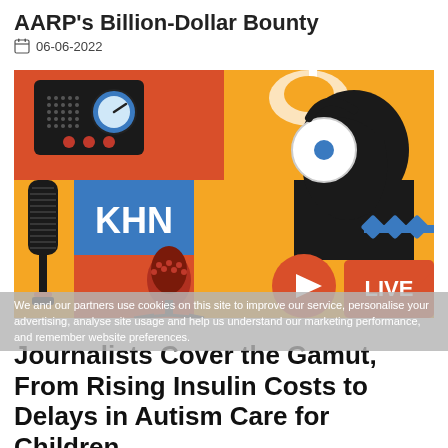AARP's Billion-Dollar Bounty
06-06-2022
[Figure (illustration): KHN podcast illustration showing colorful graphic with radio, microphone, KHN logo, person with headphones silhouette, play button, and LIVE camera icon on orange, red, blue and yellow background.]
We and our partners use cookies on this site to improve our service, personalise your advertising, analyse site usage and help us understand our marketing performance, and remember website preferences.
Journalists Cover the Gamut, From Rising Insulin Costs to Delays in Autism Care for Children